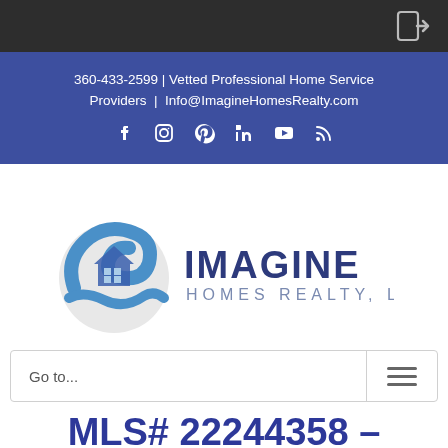360-433-2599 | Vetted Professional Home Service Providers | Info@ImagineHomesRealty.com
[Figure (logo): Imagine Homes Realty, LLC logo with house icon inside a circular blue swirl design]
Go to...
MLS# 22244358 – 17707 Se 19th St, Vancouver, WA 98683